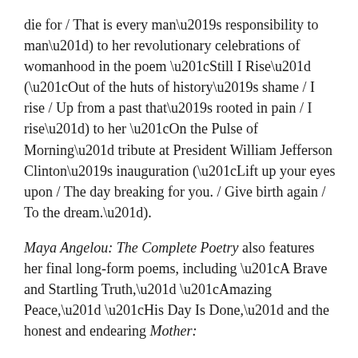die for / That is every man's responsibility to man”) to her revolutionary celebrations of womanhood in the poem “Still I Rise” (“Out of the huts of history’s shame / I rise / Up from a past that’s rooted in pain / I rise”) to her “On the Pulse of Morning” tribute at President William Jefferson Clinton’s inauguration (“Lift up your eyes upon / The day breaking for you. / Give birth again / To the dream.”).
Maya Angelou: The Complete Poetry also features her final long-form poems, including “A Brave and Startling Truth,” “Amazing Peace,” “His Day Is Done,” and the honest and endearing Mother:
“I feared if I let you go
You would leave me eternally.
You smiled at my fears, saying
I could not stay in your lap forever”
This collection also includes the never-before-published poem “Amazement Awaits,” commissioned for the 2008